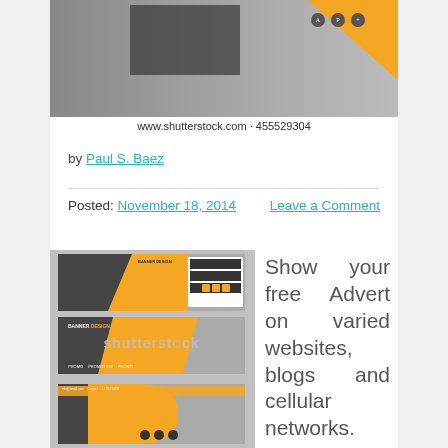[Figure (screenshot): Top portion of a banner design template with orange triangle and grey background, Shutterstock watermark below]
www.shutterstock.com · 455529304
by Paul S. Baez
Posted: November 18, 2014 Leave a Comment
[Figure (screenshot): Three banner design templates with orange and dark geometric shapes, Shutterstock watermark overlay]
Show your free Advert on varied websites, blogs and cellular networks.